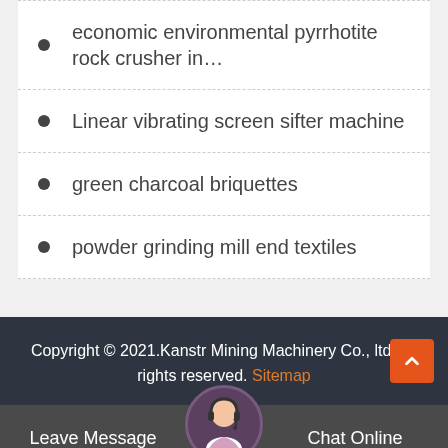economic environmental pyrrhotite rock crusher in…
Linear vibrating screen sifter machine
green charcoal briquettes
powder grinding mill end textiles
Copyright © 2021.Kanstr Mining Machinery Co., ltd. All rights reserved. Sitemap
Leave Message  Chat Online